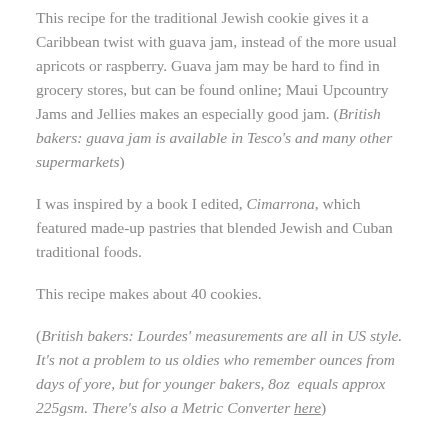This recipe for the traditional Jewish cookie gives it a Caribbean twist with guava jam, instead of the more usual apricots or raspberry. Guava jam may be hard to find in grocery stores, but can be found online; Maui Upcountry Jams and Jellies makes an especially good jam. (British bakers: guava jam is available in Tesco's and many other supermarkets)
I was inspired by a book I edited, Cimarrona, which featured made-up pastries that blended Jewish and Cuban traditional foods.
This recipe makes about 40 cookies.
(British bakers: Lourdes' measurements are all in US style. It's not a problem to us oldies who remember ounces from days of yore, but for younger bakers, 8oz  equals approx 225gsm. There's also a Metric Converter here)